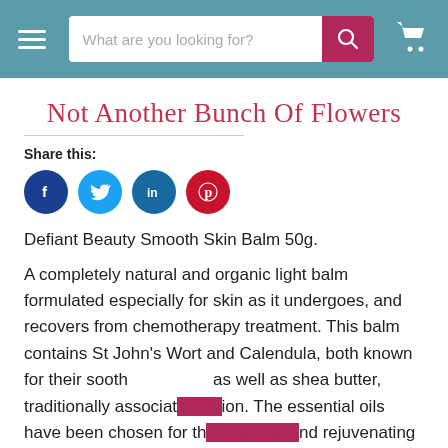What are you looking for? [search bar with search button and cart icon]
Not Another Bunch Of Flowers
Share this:
[Figure (other): Social media sharing icons: Facebook (dark blue circle with f), Twitter (light blue circle with bird), LinkedIn (teal circle with in), Pinterest (red circle with p)]
Defiant Beauty Smooth Skin Balm 50g.
A completely natural and organic light balm formulated especially for skin as it undergoes, and recovers from chemotherapy treatment. This balm contains St John's Wort and Calendula, both known for their soothing properties as well as shea butter, traditionally associated with hydration. The essential oils have been chosen for their healing and rejuvenating properties.